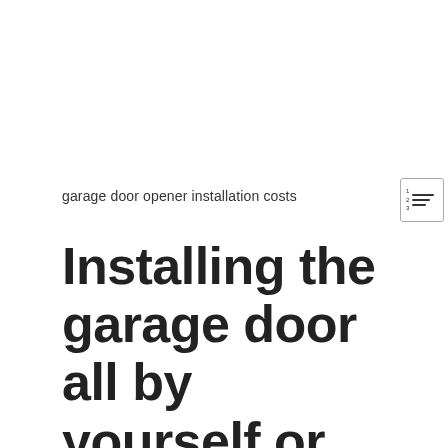garage door opener installation costs
Installing the garage door all by yourself or hiring a professional